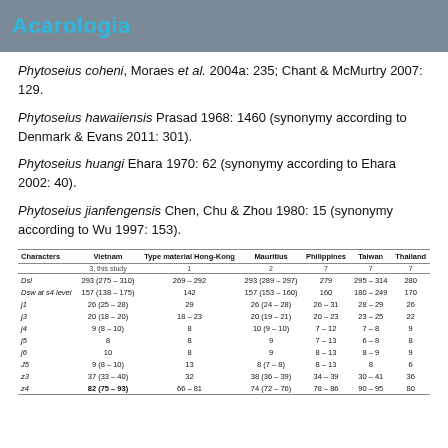Acarologia
Phytoseius coheni, Moraes et al. 2004a: 235; Chant & McMurtry 2007: 129.
Phytoseius hawaiiensis Prasad 1968: 1460 (synonymy according to Denmark & Evans 2011: 301).
Phytoseius huangi Ehara 1970: 62 (synonymy according to Ehara 2002: 40).
Phytoseius jianfengensis Chen, Chu & Zhou 1980: 15 (synonymy according to Wu 1997: 153).
| Characters | Vietnam | Type material Hong-Kong | Mauritius | Philippines | Taiwan | Thailand |
| --- | --- | --- | --- | --- | --- | --- |
|  | 3, this study | 1 | 2 | 7 | 7 | 7 |
| Dsl | 293 (275 – 310) | 269 – 292 | 293 (289 – 297) | 279 | 295 – 314 | 280 |
| Dsw at s4 level | 157 (138 – 175) | 142 | 157 (153 – 160) | 160 | 180 – 249 | 170 |
| j1 | 26 (25 – 28) | 29 | 26 (24 – 28) | 26 – 31 | 28 – 29 | 26 |
| j3 | 20 (18 – 20) | 18 – 23 | 20 (19 – 21) | 20 – 23 | 23 – 25 | 22 |
| j4 | 9 (8 – 10) | 8 | 10 (9 – 10) | 7 – 12 | 7 – 8 | 9 |
| j5 | 8 | 8 | 9 | 7 – 13 | 6 – 8 | 8 |
| j6 | 10 | 8 | 9 | 8 – 13 | 8 – 9 | 9 |
| J5 | 9 (8 – 10) | 13 | 8 (7 – 8) | 8 – 13 | 8 | 6 |
| z3 | 37 (33 – 40) | 32 | 38 (36 – 39) | 34 – 39 | 30 – 41 | 36 |
| z4 | 82 (75 – 93) | 66 – 81 | 74 (72 – 76) | 78 – 86 | 90 – 95 | 80 |